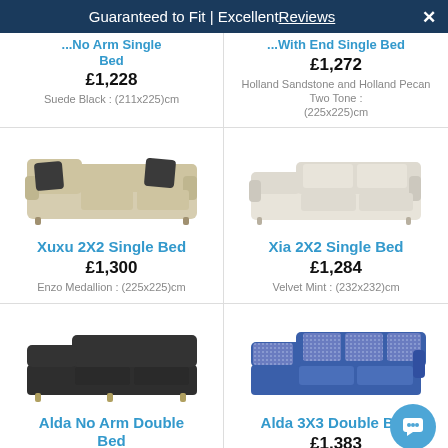Guaranteed to Fit | Excellent Reviews ✕
...No Arm Single Bed
£1,228
Suede Black : (211x225)cm
...With End Single Bed
£1,272
Holland Sandstone and Holland Pecan Two Tone : (225x225)cm
[Figure (photo): Xuxu 2X2 Single Bed sofa — cream/beige L-shaped corner sofa with dark scatter cushions]
Xuxu 2X2 Single Bed
£1,300
Enzo Medallion : (225x225)cm
[Figure (photo): Xia 2X2 Single Bed sofa — cream/white L-shaped corner sofa]
Xia 2X2 Single Bed
£1,284
Velvet Mint : (232x232)cm
[Figure (photo): Alda No Arm Double Bed sofa — dark charcoal/black L-shaped corner sofa]
Alda No Arm Double Bed
[Figure (photo): Alda 3X3 Double Bed sofa — blue fabric L-shaped corner sofa with patterned cushions]
Alda 3X3 Double B...
£1,383